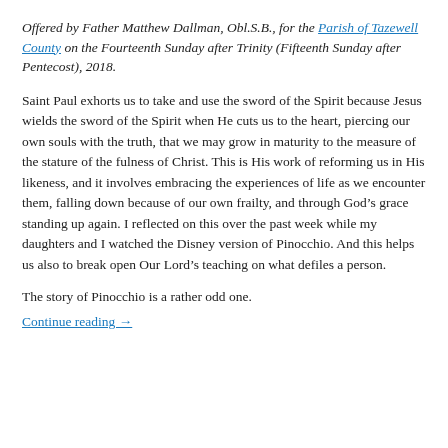Offered by Father Matthew Dallman, Obl.S.B., for the Parish of Tazewell County on the Fourteenth Sunday after Trinity (Fifteenth Sunday after Pentecost), 2018.
Saint Paul exhorts us to take and use the sword of the Spirit because Jesus wields the sword of the Spirit when He cuts us to the heart, piercing our own souls with the truth, that we may grow in maturity to the measure of the stature of the fulness of Christ. This is His work of reforming us in His likeness, and it involves embracing the experiences of life as we encounter them, falling down because of our own frailty, and through God’s grace standing up again. I reflected on this over the past week while my daughters and I watched the Disney version of Pinocchio. And this helps us also to break open Our Lord’s teaching on what defiles a person.
The story of Pinocchio is a rather odd one.
Continue reading →